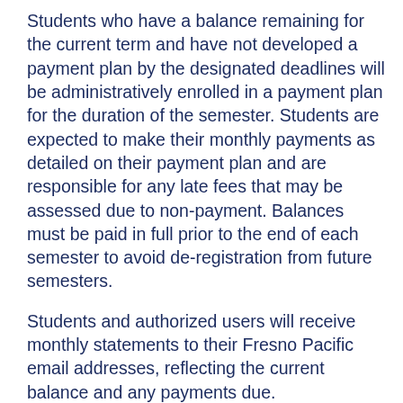Students who have a balance remaining for the current term and have not developed a payment plan by the designated deadlines will be administratively enrolled in a payment plan for the duration of the semester. Students are expected to make their monthly payments as detailed on their payment plan and are responsible for any late fees that may be assessed due to non-payment. Balances must be paid in full prior to the end of each semester to avoid de-registration from future semesters.
Students and authorized users will receive monthly statements to their Fresno Pacific email addresses, reflecting the current balance and any payments due.
The payment plan is a legal agreement between the university and the student (or the parent if the student is under 18 years of age).